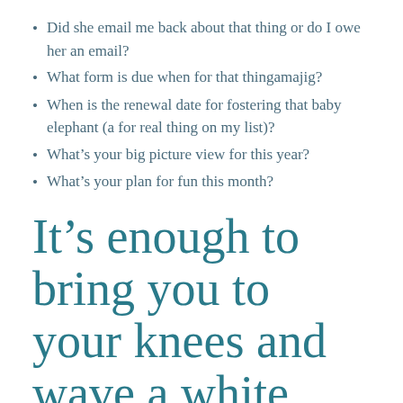Did she email me back about that thing or do I owe her an email?
What form is due when for that thingamajig?
When is the renewal date for fostering that baby elephant (a for real thing on my list)?
What’s your big picture view for this year?
What’s your plan for fun this month?
It’s enough to bring you to your knees and wave a white flag of surrender.